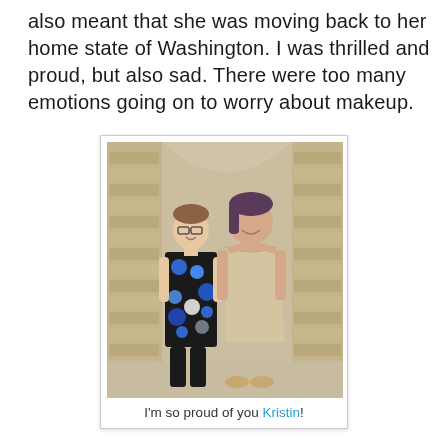also meant that she was moving back to her home state of Washington. I was thrilled and proud, but also sad. There were too many emotions going on to worry about makeup.
[Figure (photo): Two women standing together outdoors near a brick archway. The woman on the left is shorter and wears glasses and a black dress with blue and white polka dot pattern, with black boots. The woman on the right is taller and wears a cream/beige sleeveless dress. They are smiling and posing together.]
I'm so proud of you Kristin!